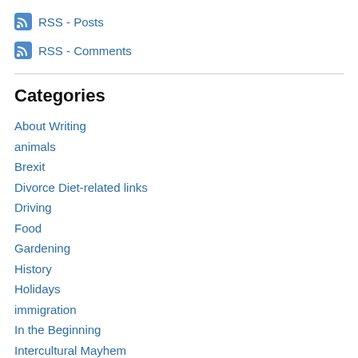RSS - Posts
RSS - Comments
Categories
About Writing
animals
Brexit
Divorce Diet-related links
Driving
Food
Gardening
History
Holidays
immigration
In the Beginning
Intercultural Mayhem